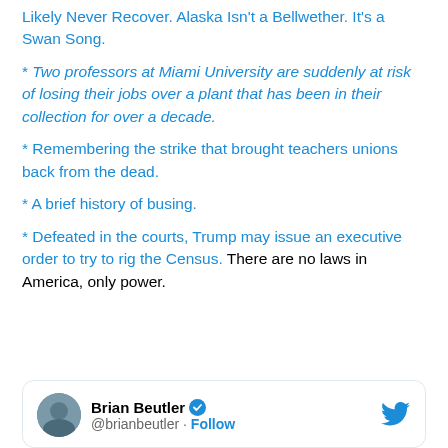Likely Never Recover. Alaska Isn't a Bellwether. It's a Swan Song.
* Two professors at Miami University are suddenly at risk of losing their jobs over a plant that has been in their collection for over a decade.
* Remembering the strike that brought teachers unions back from the dead.
* A brief history of busing.
* Defeated in the courts, Trump may issue an executive order to try to rig the Census. There are no laws in America, only power.
[Figure (screenshot): Twitter/X profile card for Brian Beutler (@brianbeutler) with Follow button and Twitter bird logo]